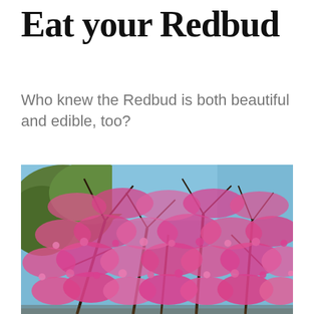Eat your Redbud
Who knew the Redbud is both beautiful and edible, too?
[Figure (photo): A blooming Redbud tree covered in vivid pink/magenta flowers against a blue sky, with bare dark branches visible and green foliage in the background.]